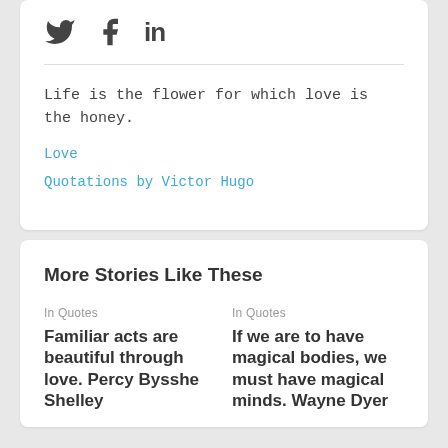[Figure (infographic): Social media share icons: Twitter bird, Facebook F, LinkedIn 'in']
Life is the flower for which love is the honey.
Love
Quotations by Victor Hugo
More Stories Like These
In Quotes
Familiar acts are beautiful through love. Percy Bysshe Shelley
In Quotes
If we are to have magical bodies, we must have magical minds. Wayne Dyer